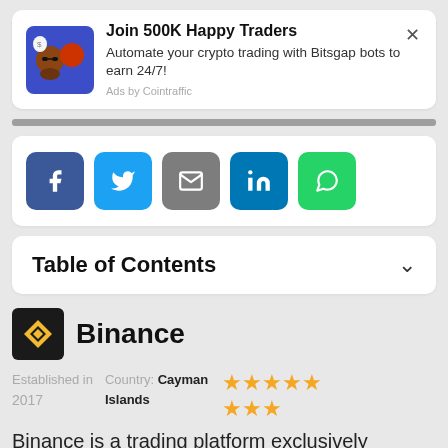[Figure (infographic): Ad card: animated crypto trading characters on blue background]
Join 500K Happy Traders
Automate your crypto trading with Bitsgap bots to earn 24/7!
Ads by Cointraffic
[Figure (infographic): Social share buttons: Facebook, Twitter, Email, LinkedIn, WhatsApp]
Table of Contents
[Figure (logo): Binance logo: yellow diamond with B symbol on black background]
Binance
Established in 2017  Country: Cayman Islands  ★★★★★★★★ (8 stars)
Binance is a trading platform exclusively